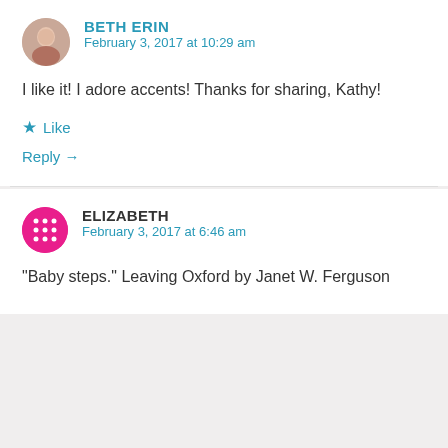BETH ERIN
February 3, 2017 at 10:29 am
I like it! I adore accents! Thanks for sharing, Kathy!
Like
Reply →
ELIZABETH
February 3, 2017 at 6:46 am
"Baby steps." Leaving Oxford by Janet W. Ferguson